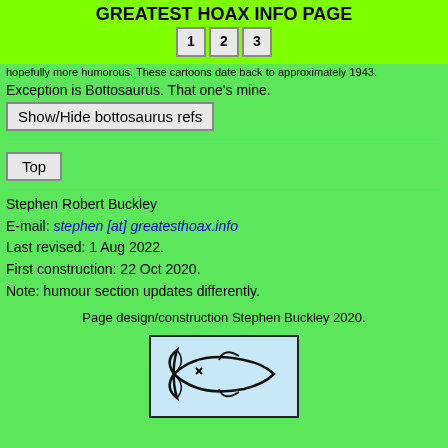GREATEST HOAX INFO PAGE
1  2  3
hopefully more humorous. These cartoons date back to approximately 1943.
Exception is Bottosaurus. That one's mine.
Show/Hide bottosaurus refs
Top
Stephen Robert Buckley
E-mail: stephen [at] greatesthoax.info
Last revised: 1 Aug 2022.
First construction: 22 Oct 2020.
Note: humour section updates differently.
Page design/construction Stephen Buckley 2020.
[Figure (illustration): A fish symbol (ichthys) drawn in black on a light blue background, inside a black-bordered rectangle. The fish has an 'x' for an eye.]